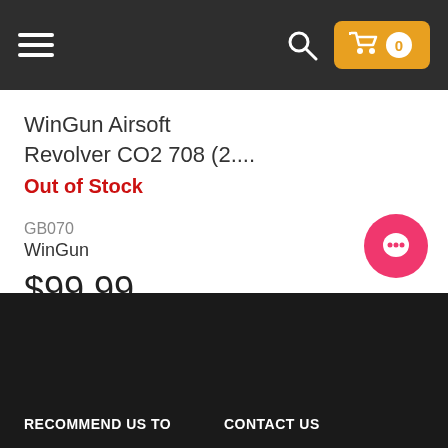Navigation header with hamburger menu, search icon, and cart button showing 0 items
WinGun Airsoft Revolver CO2 708 (2....
Out of Stock
GB070
WinGun
$99.99
RECOMMEND US TO    CONTACT US